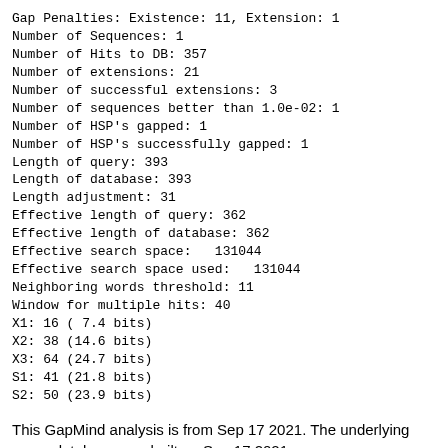Gap Penalties: Existence: 11, Extension: 1
Number of Sequences: 1
Number of Hits to DB: 357
Number of extensions: 21
Number of successful extensions: 3
Number of sequences better than 1.0e-02: 1
Number of HSP's gapped: 1
Number of HSP's successfully gapped: 1
Length of query: 393
Length of database: 393
Length adjustment: 31
Effective length of query: 362
Effective length of database: 362
Effective search space:   131044
Effective search space used:   131044
Neighboring words threshold: 11
Window for multiple hits: 40
X1: 16 ( 7.4 bits)
X2: 38 (14.6 bits)
X3: 64 (24.7 bits)
S1: 41 (21.8 bits)
S2: 50 (23.9 bits)
This GapMind analysis is from Sep 17 2021. The underlying query database was built on Sep 17 2021.
Links
All candidates for a gene in Phaeobacter inhibens BS107...